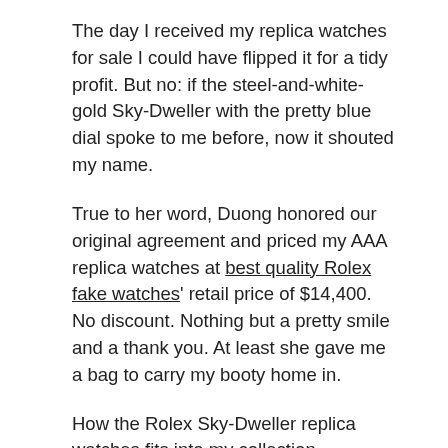The day I received my replica watches for sale I could have flipped it for a tidy profit. But no: if the steel-and-white-gold Sky-Dweller with the pretty blue dial spoke to me before, now it shouted my name.
True to her word, Duong honored our original agreement and priced my AAA replica watches at best quality Rolex fake watches' retail price of $14,400. No discount. Nothing but a pretty smile and a thank you. At least she gave me a bag to carry my booty home in.
How the Rolex Sky-Dweller replica watches fits into my collection
If you've read my articles here and elsewhere, you probably know that I gravitate toward workingman's CA replica watches online – those that serve a purpose and do a job. I wear them regularly, none of my Swiss movements fake watches sit in a safe or on winders,